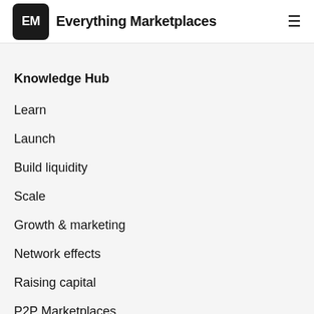EM Everything Marketplaces
Knowledge Hub
Learn
Launch
Build liquidity
Scale
Growth & marketing
Network effects
Raising capital
P2P Marketplaces
B2C Marketplaces